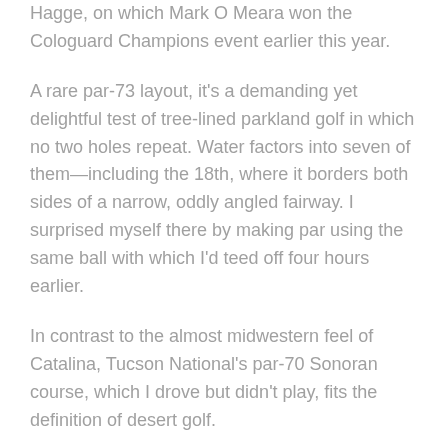Hagge, on which Mark O Meara won the Cologuard Champions event earlier this year.
A rare par-73 layout, it's a demanding yet delightful test of tree-lined parkland golf in which no two holes repeat. Water factors into seven of them—including the 18th, where it borders both sides of a narrow, oddly angled fairway. I surprised myself there by making par using the same ball with which I'd teed off four hours earlier.
In contrast to the almost midwestern feel of Catalina, Tucson National's par-70 Sonoran course, which I drove but didn't play, fits the definition of desert golf.